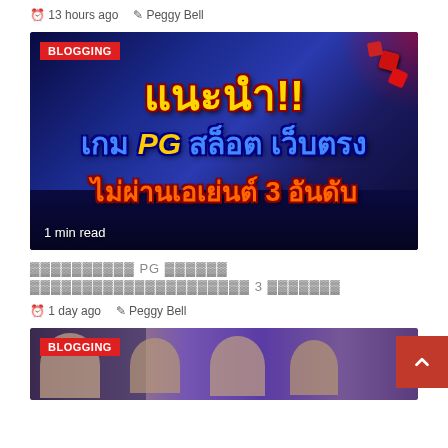13 hours ago  Peggy Bell
[Figure (photo): Thai online slot game promotional banner with dark blue background, dice, keyboard, yellow/blue/orange Thai text reading แนะนำ!! เกม PG สล็อต เว็บตรง ไม่ผ่านเอเย่นต์ 3 อันดับ, BLOGGING badge, 1 min read label]
แนะนำ PG สล็อต ไม่ผ่านเอเย่นต์ 3 อันดับ
1 day ago  Peggy Bell
[Figure (photo): Group photo of people with purple tinted background, BLOGGING badge overlay]